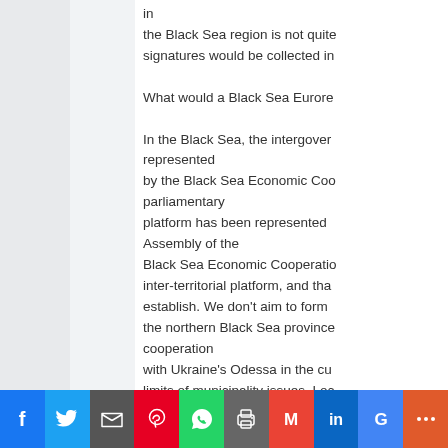in
the Black Sea region is not quite
signatures would be collected in

What would a Black Sea Eurore

In the Black Sea, the intergovernmental platform represented
by the Black Sea Economic Cooperation parliamentary
platform has been represented by the Parliamentary Assembly of the
Black Sea Economic Cooperation inter-territorial platform, and that we aim to establish. We don't aim to form the northern Black Sea provinces cooperation
with Ukraine's Odessa in the current limits of municipality issues. Local II. They were able to make long cooperation
of the local administrations. And important to have Russia and G big
conflicts can be solved with the

What are the countries which c
[Figure (other): Social sharing bar with buttons for Facebook, Twitter, Email, Pinterest, WhatsApp, Print, Gmail, LinkedIn, Google, and More]